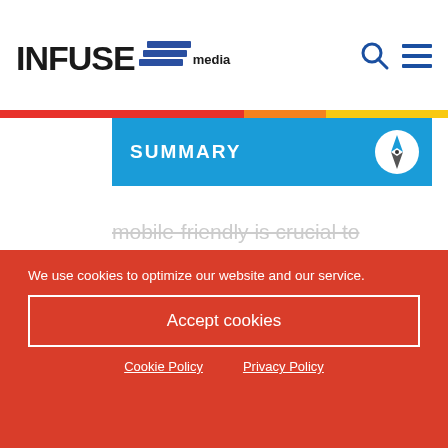INFUSE media
SUMMARY
mobile-friendly is crucial to increase open rates and engagement rates. According to Hubspot, approximately 46% of all emails are opened on mobiles. This popularity has been compounded by the
We use cookies to optimize our website and our service.
Accept cookies
Cookie Policy   Privacy Policy